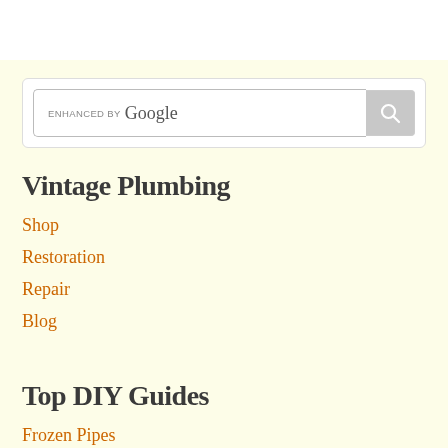[Figure (screenshot): Enhanced by Google search box with search button]
Vintage Plumbing
Shop
Restoration
Repair
Blog
Top DIY Guides
Frozen Pipes